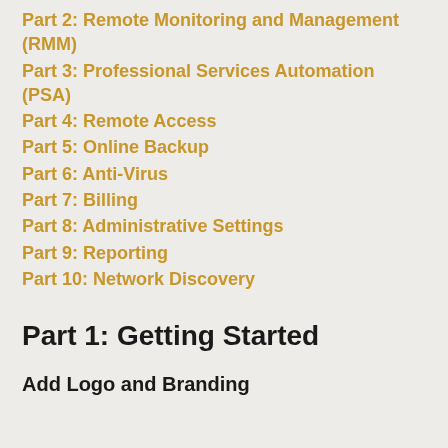Part 2: Remote Monitoring and Management (RMM)
Part 3: Professional Services Automation (PSA)
Part 4: Remote Access
Part 5: Online Backup
Part 6: Anti-Virus
Part 7: Billing
Part 8: Administrative Settings
Part 9:  Reporting
Part 10: Network Discovery
Part 1: Getting Started
Add Logo and Branding